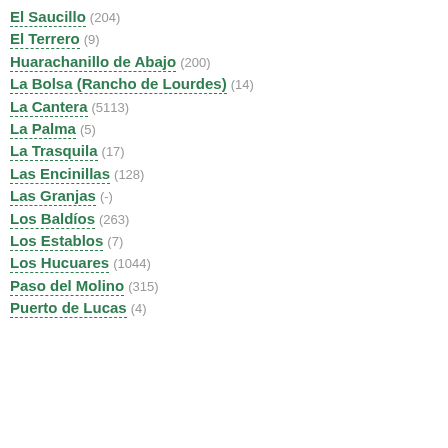El Saucillo (204)
El Terrero (9)
Huarachanillo de Abajo (200)
La Bolsa (Rancho de Lourdes) (14)
La Cantera (5113)
La Palma (5)
La Trasquila (17)
Las Encinillas (128)
Las Granjas (-)
Los Baldíos (263)
Los Establos (7)
Los Hucuares (1044)
Paso del Molino (315)
Puerto de Lucas (4)